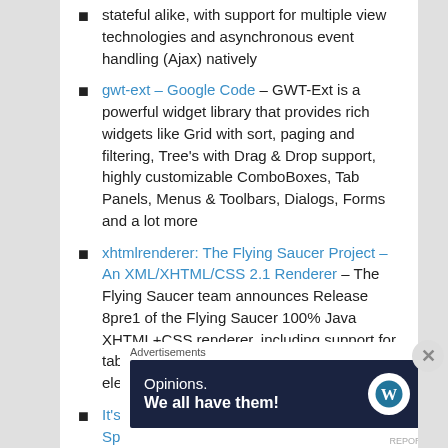stateful alike, with support for multiple view technologies and asynchronous event handling (Ajax) natively
gwt-ext – Google Code – GWT-Ext is a powerful widget library that provides rich widgets like Grid with sort, paging and filtering, Tree's with Drag & Drop support, highly customizable ComboBoxes, Tab Panels, Menus & Toolbars, Dialogs, Forms and a lot more
xhtmlrenderer: The Flying Saucer Project – An XML/XHTML/CSS 2.1 Renderer – The Flying Saucer team announces Release 8pre1 of the Flying Saucer 100% Java XHTML+CSS renderer, including support for table pagination, margin boxes, running elements, named pages, and more:
It's Only Software » 5 Minute Guide to Spring and JMX – I recently augmented a Spring-based project to expose some of the Spring-managed beans via
Advertisements
[Figure (infographic): WordPress advertisement banner: 'Opinions. We all have them!' with WordPress and other logos on dark navy background]